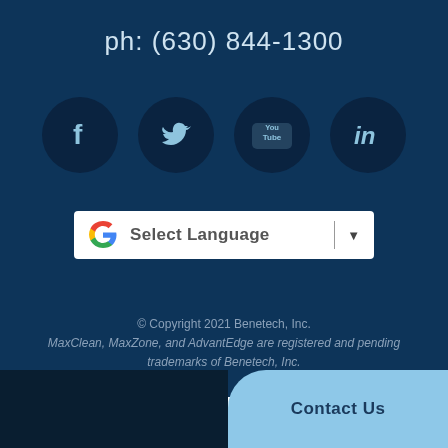ph: (630) 844-1300
[Figure (infographic): Four social media icons in dark navy circles: Facebook (f), Twitter (bird), YouTube (You Tube), LinkedIn (in)]
[Figure (screenshot): Google Translate 'Select Language' dropdown widget with Google G logo, 'Select Language' text, a vertical divider, and a downward triangle arrow]
© Copyright 2021 Benetech, Inc.
MaxClean, MaxZone, and AdvantEdge are registered and pending trademarks of Benetech, Inc.
Employee Portal
Contact Us